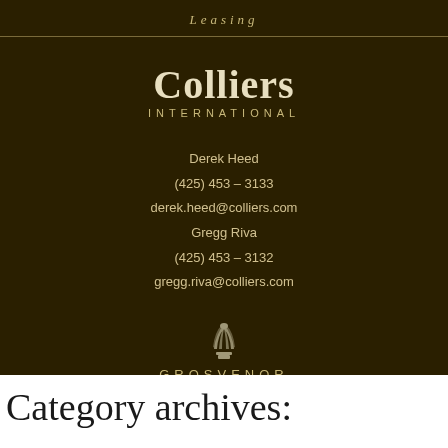Leasing
[Figure (logo): Colliers International logo with large serif 'Colliers' text and smaller spaced 'INTERNATIONAL' subtitle in cream/beige color on dark brown background]
Derek Heed
(425) 453 – 3133
derek.heed@colliers.com
Gregg Riva
(425) 453 – 3132
gregg.riva@colliers.com
[Figure (logo): Grosvenor logo with stylized crown/basket icon above the word GROSVENOR in spaced capital letters]
© 2022 | Grosvenor Americas | Privacy Policy | site by kinlodesigns
Category archives: